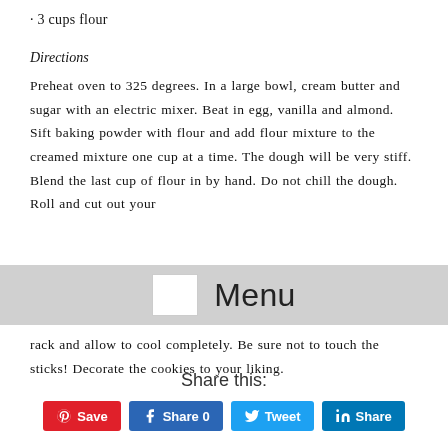· 3 cups flour
Directions
Preheat oven to 325 degrees. In a large bowl, cream butter and sugar with an electric mixer. Beat in egg, vanilla and almond. Sift baking powder with flour and add flour mixture to the creamed mixture one cup at a time. The dough will be very stiff. Blend the last cup of flour in by hand. Do not chill the dough. Roll and cut out your
[Figure (other): Menu overlay with white rectangle icon and 'Menu' text on grey background]
rack and allow to cool completely. Be sure not to touch the sticks! Decorate the cookies to your liking.
Share this: